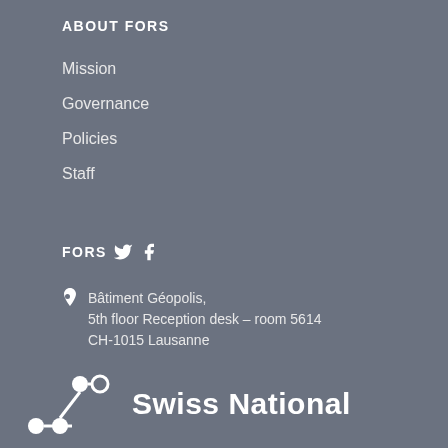ABOUT FORS
Mission
Governance
Policies
Staff
FORS
Bâtiment Géopolis, 5th floor Reception desk – room 5614 CH-1015 Lausanne
+41 (0)21 692 37 30
info@forscenter.ch
[Figure (logo): Swiss National logo with network graph graphic and bold white text 'Swiss National']